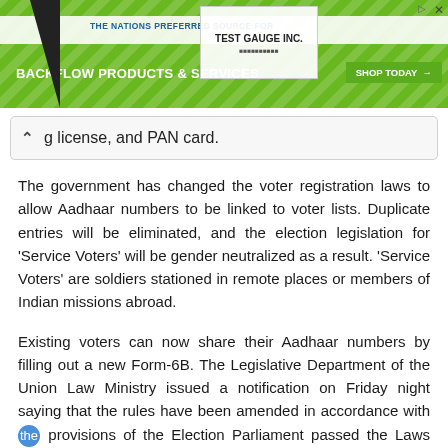[Figure (other): Advertisement banner for Test Gauge Inc. - Backflow Products & Services with green background, diagonal stripes, logo, and Shop Today button]
g license, and PAN card.
The government has changed the voter registration laws to allow Aadhaar numbers to be linked to voter lists. Duplicate entries will be eliminated, and the election legislation for 'Service Voters' will be gender neutralized as a result. 'Service Voters' are soldiers stationed in remote places or members of Indian missions abroad.
Existing voters can now share their Aadhaar numbers by filling out a new Form-6B. The Legislative Department of the Union Law Ministry issued a notification on Friday night saying that the rules have been amended in accordance with the provisions of the Election Parliament passed the Laws (Amendment) Act in December of last year. From August 1,